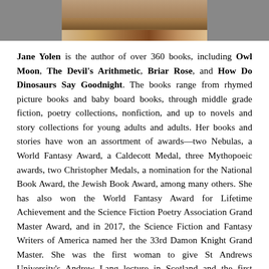[Figure (photo): Partial photo of Jane Yolen, cropped at top of page, showing bottom portion of image with warm brown tones]
Jane Yolen is the author of over 360 books, including Owl Moon, The Devil's Arithmetic, Briar Rose, and How Do Dinosaurs Say Goodnight. The books range from rhymed picture books and baby board books, through middle grade fiction, poetry collections, nonfiction, and up to novels and story collections for young adults and adults. Her books and stories have won an assortment of awards—two Nebulas, a World Fantasy Award, a Caldecott Medal, three Mythopoeic awards, two Christopher Medals, a nomination for the National Book Award, the Jewish Book Award, among many others. She has also won the World Fantasy Award for Lifetime Achievement and the Science Fiction Poetry Association Grand Master Award, and in 2017, the Science Fiction and Fantasy Writers of America named her the 33rd Damon Knight Grand Master. She was the first woman to give St Andrews University's Andrew Lang lecture in Scotland and the first writer to win the Arts & Humanities Award from New England Public Radio. Six colleges and